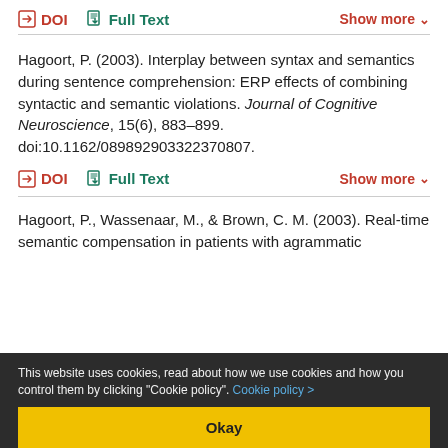DOI   Full Text   Show more
Hagoort, P. (2003). Interplay between syntax and semantics during sentence comprehension: ERP effects of combining syntactic and semantic violations. Journal of Cognitive Neuroscience, 15(6), 883–899. doi:10.1162/089892903322370807.
DOI   Full Text   Show more
Hagoort, P., Wassenaar, M., & Brown, C. M. (2003). Real-time semantic compensation in patients with agrammatic
This website uses cookies, read about how we use cookies and how you control them by clicking "Cookie policy". Cookie policy >
Okay